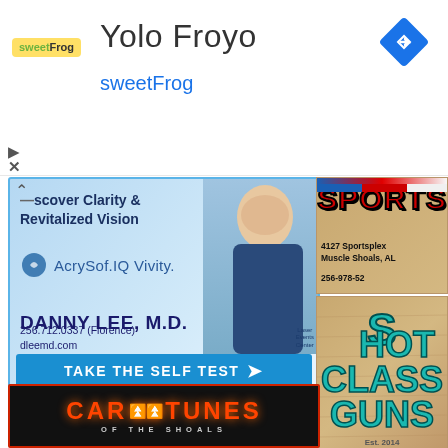[Figure (screenshot): Mobile app header showing Yolo Froyo listing with sweetFrog logo, title 'Yolo Froyo', subtitle 'sweetFrog' in blue, navigation arrow icon top right, and play/close icons on left]
[Figure (photo): Advertisement for laser eye surgery: AcrySof IQ Vivity lens, Danny Lee M.D., 256.712.0337 (Florence), dleemd.com, with photo of doctor and 'TAKE THE SELF TEST' blue button]
[Figure (photo): Sports store advertisement showing 'SPORTS G...' text in red, address 4127 Sportsplex, Muscle Shoals, AL, phone 256-978-52...]
d
y
B
[Figure (logo): Shot Glass Guns logo on wood-grain background, teal/turquoise stylized lettering, Est. 2014]
[Figure (logo): Car Tunes of the Shoals logo, black background with red border, red and orange neon-style lettering, yellow waveform, subtitle 'OF THE SHOALS']